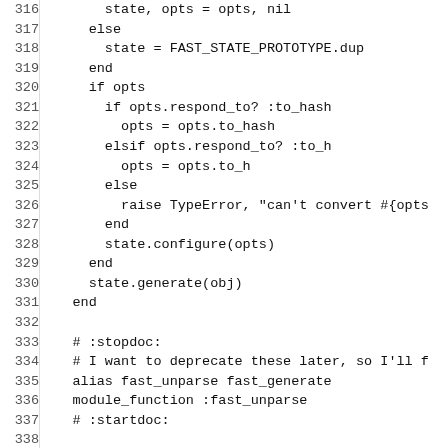Code listing lines 316-345, Ruby source code showing JSON generation methods including state configuration, fast_generate alias, and pretty_generate documentation comments.